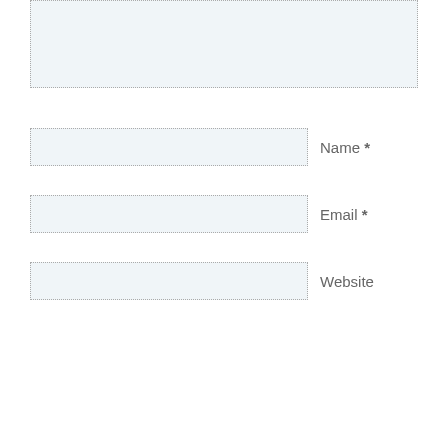[Figure (screenshot): Textarea input box with dotted border and light blue background at top of form]
Name *
Email *
Website
POST COMMENT